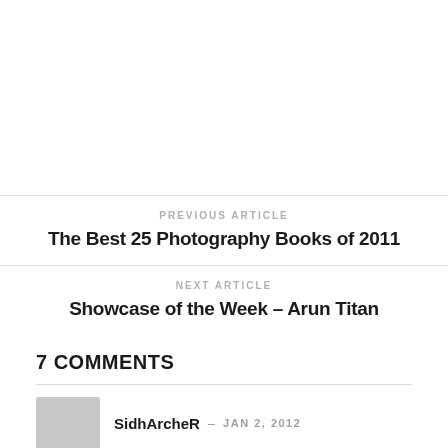PREVIOUS ARTICLE
The Best 25 Photography Books of 2011
NEXT ARTICLE
Showcase of the Week – Arun Titan
7 COMMENTS
SidhArcheR – JAN 2, 2012